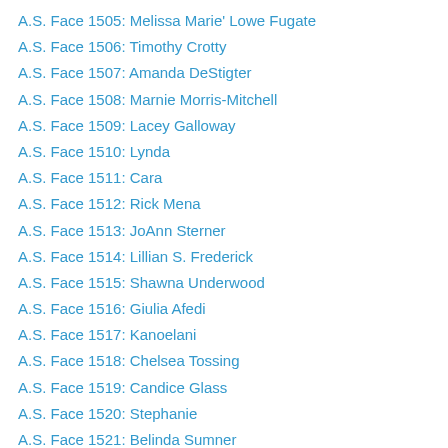A.S. Face 1505: Melissa Marie' Lowe Fugate
A.S. Face 1506: Timothy Crotty
A.S. Face 1507: Amanda DeStigter
A.S. Face 1508: Marnie Morris-Mitchell
A.S. Face 1509: Lacey Galloway
A.S. Face 1510: Lynda
A.S. Face 1511: Cara
A.S. Face 1512: Rick Mena
A.S. Face 1513: JoAnn Sterner
A.S. Face 1514: Lillian S. Frederick
A.S. Face 1515: Shawna Underwood
A.S. Face 1516: Giulia Afedi
A.S. Face 1517: Kanoelani
A.S. Face 1518: Chelsea Tossing
A.S. Face 1519: Candice Glass
A.S. Face 1520: Stephanie
A.S. Face 1521: Belinda Sumner
A.S. Face 1522: Julie Lawton
A.S. Face 1523: Tiffany
A.S. Face 1524: Anthony Keegan